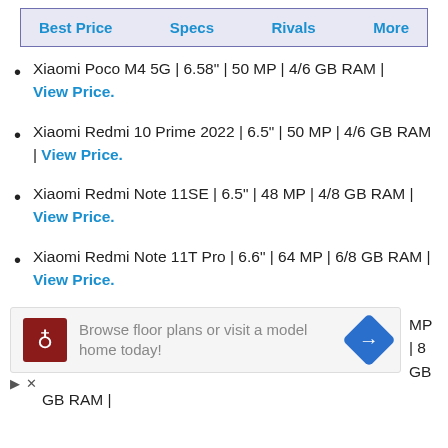Best Price | Specs | Rivals | More
Xiaomi Poco M4 5G | 6.58" | 50 MP | 4/6 GB RAM | View Price.
Xiaomi Redmi 10 Prime 2022 | 6.5" | 50 MP | 4/6 GB RAM | View Price.
Xiaomi Redmi Note 11SE | 6.5" | 48 MP | 4/8 GB RAM | View Price.
Xiaomi Redmi Note 11T Pro | 6.6" | 64 MP | 6/8 GB RAM | View Price.
[Figure (other): Advertisement banner: Browse floor plans or visit a model home today!]
MP | 8 GB
GB RAM |